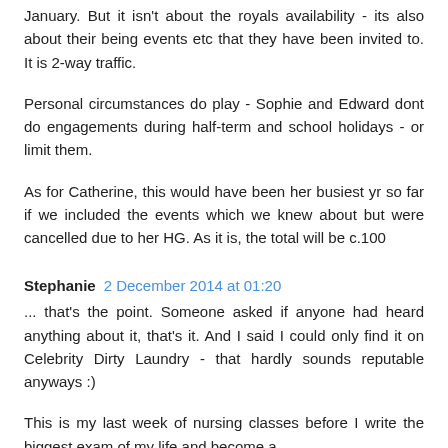January. But it isn't about the royals availability - its also about their being events etc that they have been invited to. It is 2-way traffic.
Personal circumstances do play - Sophie and Edward dont do engagements during half-term and school holidays - or limit them.
As for Catherine, this would have been her busiest yr so far if we included the events which we knew about but were cancelled due to her HG. As it is, the total will be c.100
Stephanie 2 December 2014 at 01:20
... that's the point. Someone asked if anyone had heard anything about it, that's it. And I said I could only find it on Celebrity Dirty Laundry - that hardly sounds reputable anyways :)
This is my last week of nursing classes before I write the biggest exam of my life and become a